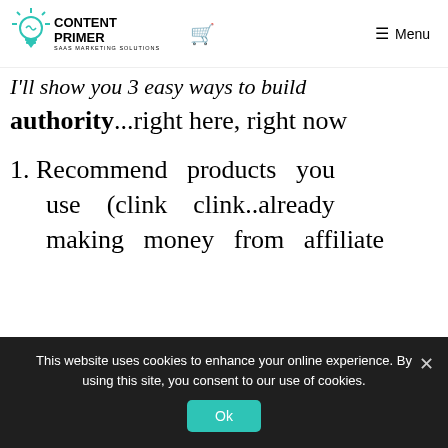CONTENT PRIMER SAAS MARKETING SOLUTIONS
I'll show you 3 easy ways to build authority...right here, right now
1. Recommend products you use (clink clink..already making money from affiliate
This website uses cookies to enhance your online experience. By using this site, you consent to our use of cookies.